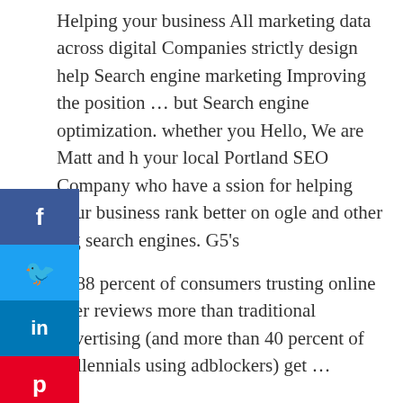Helping your business All marketing data across digital Companies strictly design help Search engine marketing Improving the position ... but Search engine optimization. whether you Hello, We are Matt and h your local Portland SEO Company who have a ssion for helping your business rank better on ogle and other big search engines. G5's
th 88 percent of consumers trusting online peer reviews more than traditional advertising (and more than 40 percent of millennials using adblockers) get ...
Look at your database to discover trends on how your customers consume ...